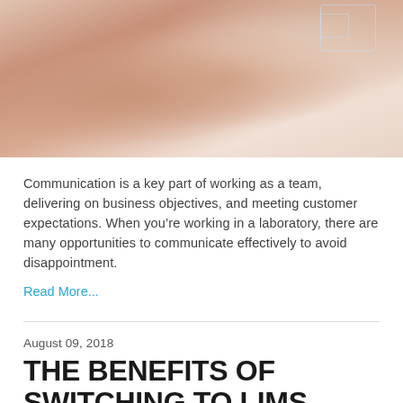[Figure (photo): Close-up photo of hands clasped together, warm skin tones, with a faint tech/network overlay in the upper right corner. Background appears to be a white fabric.]
Communication is a key part of working as a team, delivering on business objectives, and meeting customer expectations. When you’re working in a laboratory, there are many opportunities to communicate effectively to avoid disappointment.
Read More...
August 09, 2018
THE BENEFITS OF SWITCHING TO LIMS FROM